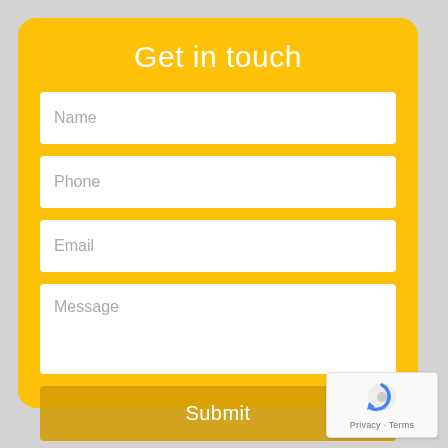Get in touch
Name
Phone
Email
Message
Submit
[Figure (logo): Google reCAPTCHA badge with circular arrow icon and Privacy - Terms text]
Privacy · Terms